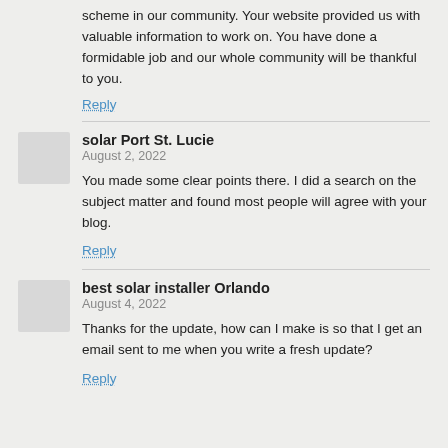scheme in our community. Your website provided us with valuable information to work on. You have done a formidable job and our whole community will be thankful to you.
Reply
solar Port St. Lucie
August 2, 2022
You made some clear points there. I did a search on the subject matter and found most people will agree with your blog.
Reply
best solar installer Orlando
August 4, 2022
Thanks for the update, how can I make is so that I get an email sent to me when you write a fresh update?
Reply